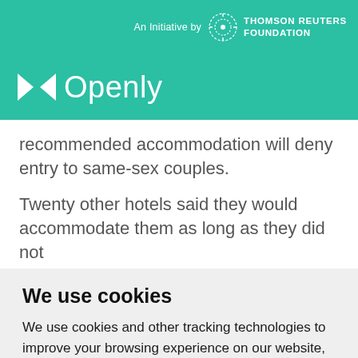An Initiative by THOMSON REUTERS FOUNDATION
[Figure (logo): Openly logo — bowtie icon in white with 'Openly' text in white on teal background]
recommended accommodation will deny entry to same-sex couples.
Twenty other hotels said they would accommodate them as long as they did not
We use cookies
We use cookies and other tracking technologies to improve your browsing experience on our website, to show you personalized content and targeted ads, to analyze our website traffic, and